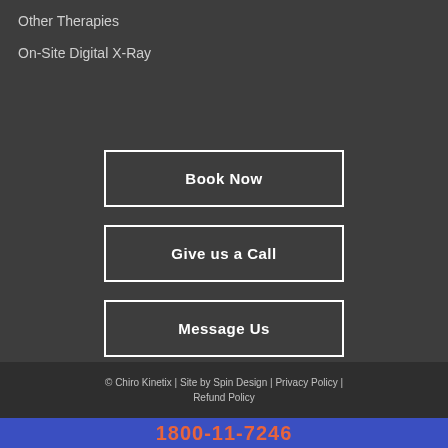Other Therapies
On-Site Digital X-Ray
Book Now
Give us a Call
Message Us
© Chiro Kinetix | Site by Spin Design | Privacy Policy | Refund Policy
1800-11-7246